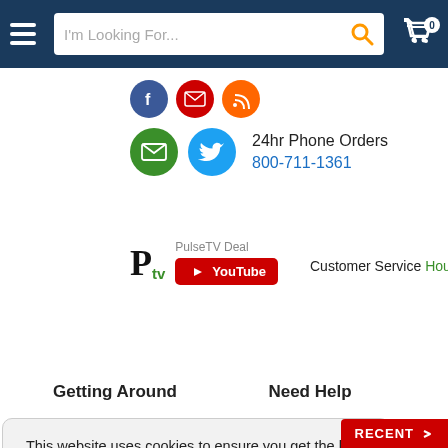Navigation bar with hamburger menu, search box, and cart
[Figure (illustration): Social media icons row: Facebook, email (red), RSS feed circles, then email (green) and Twitter circles]
24hr Phone Orders 800-711-1361
[Figure (logo): PulseTV logo: bold P with tv subscript in green. PulseTV Deal label above YouTube button.]
Customer Service Hours...
Getting Around
Need Help
This website uses cookies to ensure you get the best experience on our website.
Learn more
Got it!
By continuing on to this site you are stating you understand we collect cookies
RECENT